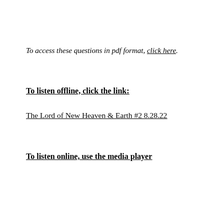To access these questions in pdf format, click here.
To listen offline, click the link:
The Lord of New Heaven & Earth #2 8.28.22
To listen online, use the media player